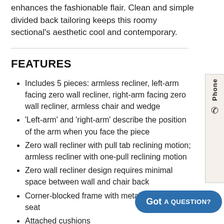enhances the fashionable flair. Clean and simple divided back tailoring keeps this roomy sectional's aesthetic cool and contemporary.
FEATURES
Includes 5 pieces: armless recliner, left-arm facing zero wall recliner, right-arm facing zero wall recliner, armless chair and wedge
'Left-arm' and 'right-arm' describe the position of the arm when you face the piece
Zero wall recliner with pull tab reclining motion; armless recliner with one-pull reclining motion
Zero wall recliner design requires minimal space between wall and chair back
Corner-blocked frame with metal reinforced seat
Attached cushions
High-resiliency foam cushions wrapped in soft poly fiber
Polyester/polyurethane interior upholstery; vinyl exterior upholstery